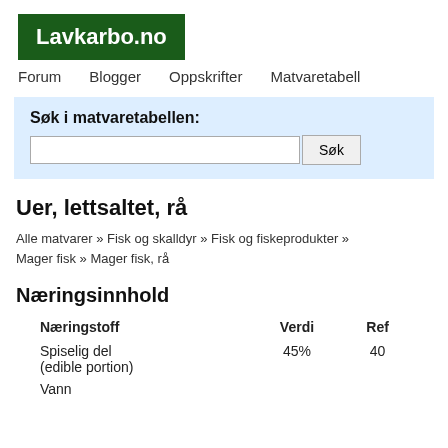Lavkarbo.no
Forum  Blogger  Oppskrifter  Matvaretabell
Søk i matvaretabellen: [search input] Søk
Uer, lettsaltet, rå
Alle matvarer » Fisk og skalldyr » Fisk og fiskeprodukter » Mager fisk » Mager fisk, rå
Næringsinnhold
| Næringstoff | Verdi | Ref |
| --- | --- | --- |
| Spiselig del
(edible portion) | 45% | 40 |
| Vann |  |  |